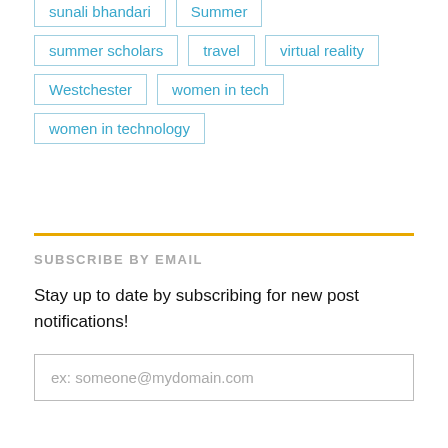summer scholars
travel
virtual reality
Westchester
women in tech
women in technology
SUBSCRIBE BY EMAIL
Stay up to date by subscribing for new post notifications!
ex: someone@mydomain.com